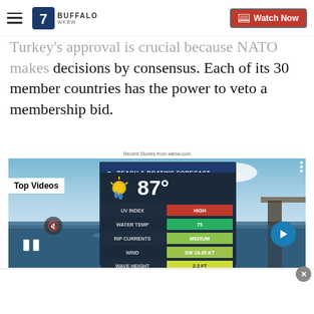7 BUFFALO / Watch Now
Turkey's approval is crucial because NATO makes decisions by consensus. Each of its 30 member countries has the power to veto a membership bid.
Recent Stories from wkbw.com
[Figure (screenshot): Video player showing a Beach & Boating Forecast weather segment with a TV meteorologist presenting. The forecast board shows: 87°, UV Index HIGH (red), Water Temp 75 (green), Rip Currents MEDIUM (yellow-green), Wind SW 10-20 kt, Wave Height 2-3 ft. Overlay shows 'Top Videos' badge, pause button, mute icon, and next arrow.]